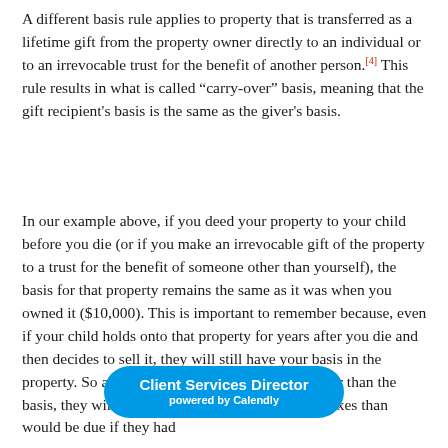A different basis rule applies to property that is transferred as a lifetime gift from the property owner directly to an individual or to an irrevocable trust for the benefit of another person.[4] This rule results in what is called “carry-over” basis, meaning that the gift recipient's basis is the same as the giver's basis.
In our example above, if you deed your property to your child before you die (or if you make an irrevocable gift of the property to a trust for the benefit of someone other than yourself), the basis for that property remains the same as it was when you owned it ($10,000). This is important to remember because, even if your child holds onto that property for years after you die and then decides to sell it, they will still have your basis in the property. So assuming they sell it for a price greater than the basis, they will probabl… more capital gains taxes than would be due if they had